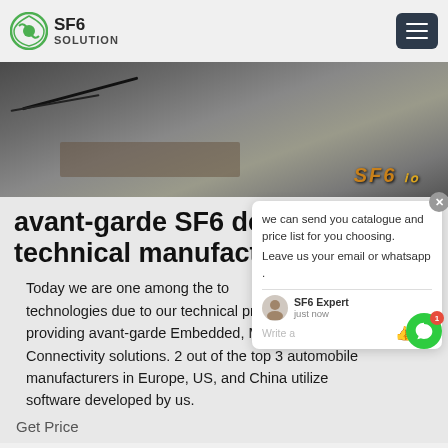SF6 SOLUTION
[Figure (photo): Industrial outdoor site with gravel, cables and equipment visible. SF6 logo text visible on right side in orange.]
avant-garde SF6 devices technical manufacturer
Today we are one among the top technologies due to our technical providing avant-garde Embedded, Multimedia, and Connectivity solutions. 2 out of the top 3 automobile manufacturers in Europe, US, and China utilize software developed by us.
Get Price